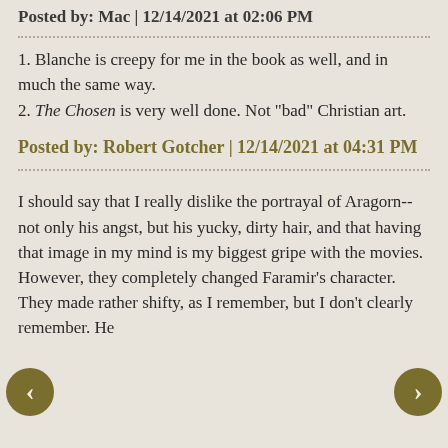Posted by: Mac | 12/14/2021 at 02:06 PM
1. Blanche is creepy for me in the book as well, and in much the same way.
2. The Chosen is very well done. Not "bad" Christian art.
Posted by: Robert Gotcher | 12/14/2021 at 04:31 PM
I should say that I really dislike the portrayal of Aragorn--not only his angst, but his yucky, dirty hair, and that having that image in my mind is my biggest gripe with the movies. However, they completely changed Faramir's character. They made rather shifty, as I remember, but I don't clearly remember. He